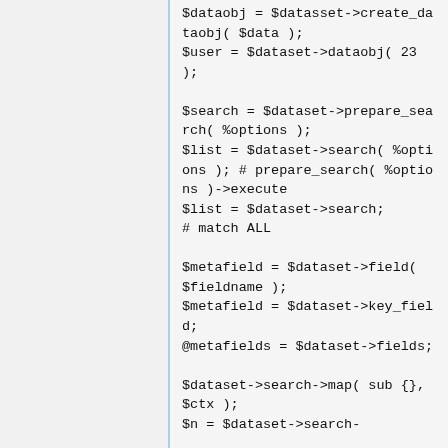$dataobj = $datasset->create_dataobj( $data );
$user = $dataset->dataobj( 23 );

$search = $dataset->prepare_search( %options );
$list = $dataset->search( %options ); # prepare_search( %options )->execute
$list = $dataset->search;
# match ALL

$metafield = $dataset->field( $fieldname );
$metafield = $dataset->key_field;
@metafields = $dataset->fields;

$dataset->search->map( sub {}, $ctx );
$n = $dataset->search-